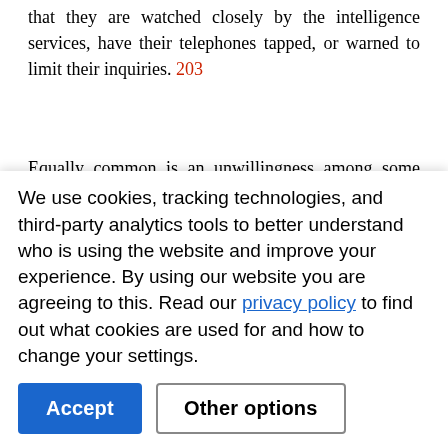that they are watched closely by the intelligence services, have their telephones tapped, or warned to limit their inquiries. 203
Equally common is an unwillingness among some investigators to aggressively investigate allegations of human rights abuses based in part on a fear of retaliation if powerful paramilitaries and their military patrons are involved. Such fear is not unfounded. As we describe later in this report, the judge who identified the military masterminds of the
We use cookies, tracking technologies, and third-party analytics tools to better understand who is using the website and improve your experience. By using our website you are agreeing to this. Read our privacy policy to find out what cookies are used for and how to change your settings.